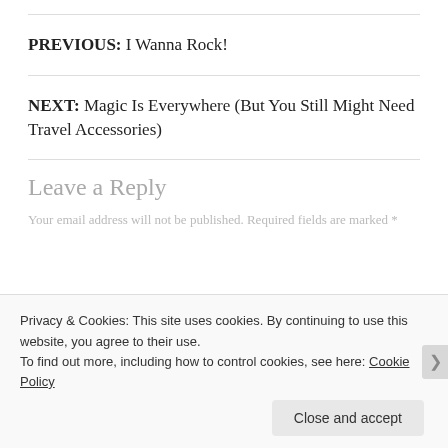PREVIOUS: I Wanna Rock!
NEXT: Magic Is Everywhere (But You Still Might Need Travel Accessories)
Leave a Reply
Your email address will not be published. Required fields are marked *
Privacy & Cookies: This site uses cookies. By continuing to use this website, you agree to their use. To find out more, including how to control cookies, see here: Cookie Policy